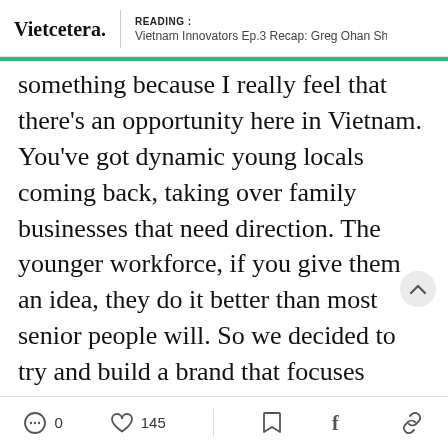Vietcetera. | READING : Vietnam Innovators Ep.3 Recap: Greg Ohan Shares His...
something because I really feel that there's an opportunity here in Vietnam. You've got dynamic young locals coming back, taking over family businesses that need direction. The younger workforce, if you give them an idea, they do it better than most senior people will. So we decided to try and build a brand that focuses purely on international standard property management. Similar to HSBC, which is known as the world's local bank-- that idea of 'international' and to 'local'. We're
0  145  [bookmark]  f  [link]